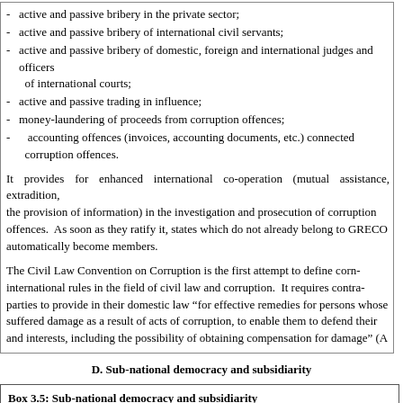active and passive bribery in the private sector;
active and passive bribery of international civil servants;
active and passive bribery of domestic, foreign and international judges and officers of international courts;
active and passive trading in influence;
money-laundering of proceeds from corruption offences;
accounting offences (invoices, accounting documents, etc.) connected corruption offences.
It provides for enhanced international co-operation (mutual assistance, extradition, the provision of information) in the investigation and prosecution of corruption offences. As soon as they ratify it, states which do not already belong to GRECO automatically become members.
The Civil Law Convention on Corruption is the first attempt to define common international rules in the field of civil law and corruption. It requires contracting parties to provide in their domestic law “for effective remedies for persons who have suffered damage as a result of acts of corruption, to enable them to defend their rights and interests, including the possibility of obtaining compensation for damage” (A
D. Sub-national democracy and subsidiarity
Box 3.5: Sub-national democracy and subsidiarity